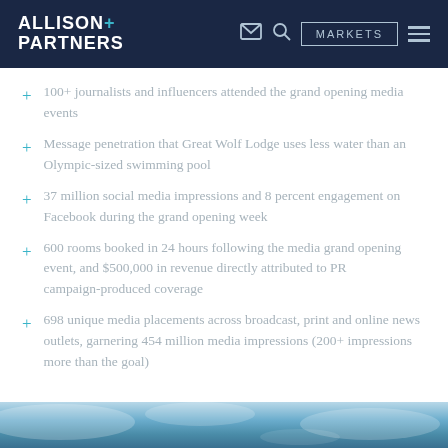Allison+Partners | MARKETS
100+ journalists and influencers attended the grand opening media events
Message penetration that Great Wolf Lodge uses less water than an Olympic-sized swimming pool
37 million social media impressions and 8 percent engagement on Facebook during the grand opening week
600 rooms booked in 24 hours following the media grand opening event, and $500,000 in revenue directly attributed to PR campaign-produced coverage
698 unique media placements across broadcast, print and online news outlets, garnering 454 million media impressions (200+ impressions more than the goal)
[Figure (photo): Ocean or water body image at the bottom of the page]